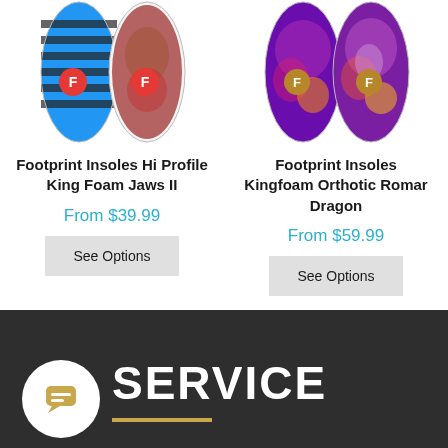[Figure (photo): Footprint Insoles Hi Profile King Foam Jaws II product image showing patterned insoles with blue and black stripes and red logo]
Footprint Insoles Hi Profile King Foam Jaws II
From $39.99
See Options
[Figure (photo): Footprint Insoles Kingfoam Orthotic Romar Dragon product image showing purple and multicolor dragon-patterned insoles with brown logo]
Footprint Insoles Kingfoam Orthotic Romar Dragon
From $59.99
See Options
SERVICE_